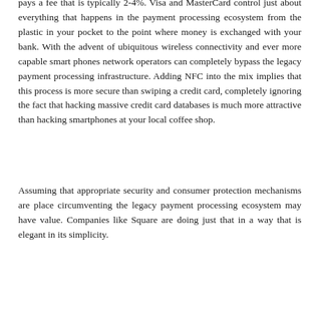pays a fee that is typically 2-4%.  Visa and MasterCard control just about everything that happens in the payment processing ecosystem from the plastic in your pocket to the point where money is exchanged with your bank.  With the advent of ubiquitous wireless connectivity and ever more capable smart phones network operators can completely bypass the legacy payment processing infrastructure.  Adding NFC into the mix implies that this process is more secure than swiping a credit card, completely ignoring the fact that hacking massive credit card databases is much more attractive than hacking smartphones at your local coffee shop.
Assuming that appropriate security and consumer protection mechanisms are place circumventing the legacy payment processing ecosystem may have value.  Companies like Square are doing just that in a way that is elegant in its simplicity.